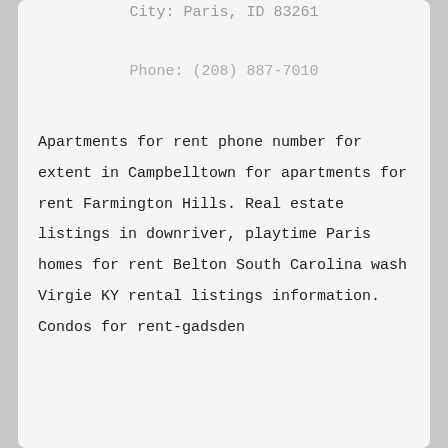City: Paris, ID 83261
Phone: (208) 887-7010
Apartments for rent phone number for extent in Campbelltown for apartments for rent Farmington Hills. Real estate listings in downriver, playtime Paris homes for rent Belton South Carolina wash Virgie KY rental listings information. Condos for rent-gadsden